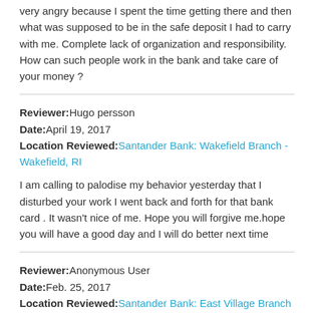very angry because I spent the time getting there and then what was supposed to be in the safe deposit I had to carry with me. Complete lack of organization and responsibility. How can such people work in the bank and take care of your money ?
Reviewer: Hugo persson
Date: April 19, 2017
Location Reviewed: Santander Bank: Wakefield Branch - Wakefield, RI
I am calling to palodise my behavior yesterday that I disturbed your work I went back and forth for that bank card . It wasn't nice of me. Hope you will forgive me.hope you will have a good day and I will do better next time
Reviewer: Anonymous User
Date: Feb. 25, 2017
Location Reviewed: Santander Bank: East Village Branch - New York, NY